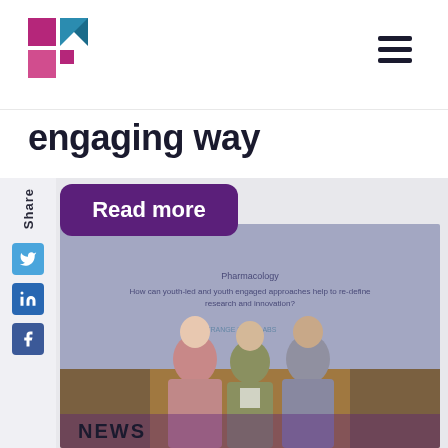[Figure (logo): Colorful geometric logo with magenta/pink and teal/dark blue square shapes]
engaging way
Read more
[Figure (photo): Three young women smiling in front of a presentation screen that reads 'How can youth-led and youth engaged approaches help to re-define research and innovation?']
NEWS